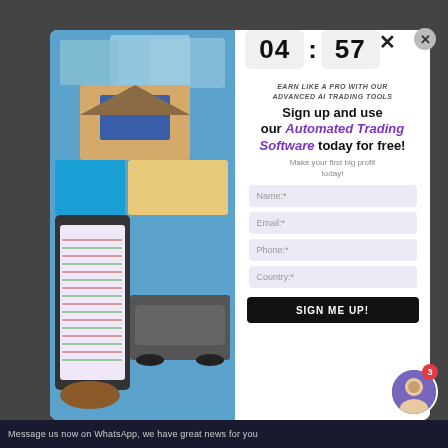[Figure (screenshot): A popup modal overlay on a dark website background. Left side shows a photo collage including a house, beach, car, people, and a hand holding a smartphone with trading data. Right side contains a countdown timer (04:57), a sign-up form with fields for Name, Email, Phone, Country, and a SIGN ME UP button. Text includes tagline about AI trading tools.]
04 : 57
Minutes   Seconds
EARN LIKE A PRO WITH OUR ADVANCED AI TRADING TOOLS
Sign up and use our Automated Trading Software today for free!
Make your first big profit today!
Name:*
Email:*
Phone:*
Country:*
SIGN ME UP!
Message us now on WhatsApp, we have great news for you